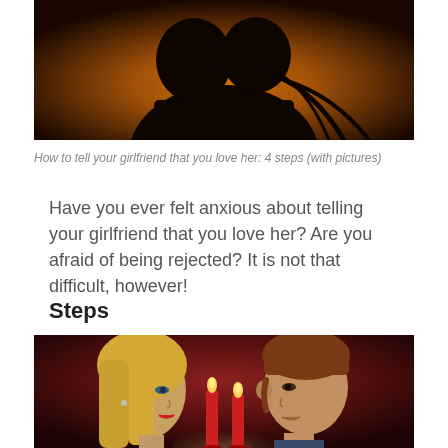[Figure (illustration): Illustration showing silhouette of a couple embracing against an orange/warm backlit background, viewed from behind]
How to tell your girlfriend that you love her: 4 steps (with pictures)
Have you ever felt anxious about telling your girlfriend that you love her? Are you afraid of being rejected? It is not that difficult, however!
Steps
[Figure (illustration): Illustration of a couple facing each other at a candlelit dinner, two red candles between them, woman with blonde hair on left, man with brown hair on right, dark red background]